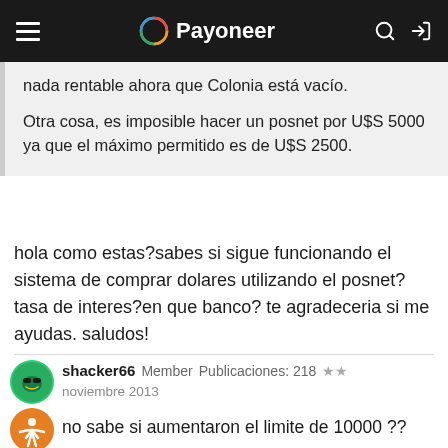Payoneer
nada rentable ahora que Colonia está vacío.

Otra cosa, es imposible hacer un posnet por U$S 5000 ya que el máximo permitido es de U$S 2500.
hola como estas?sabes si sigue funcionando el sistema de comprar dolares utilizando el posnet? tasa de interes?en que banco? te agradeceria si me ayudas. saludos!
shacker66  Member  Publicaciones: 218  ★★
noviembre 2013
no sabe si aumentaron el limite de 10000 ??